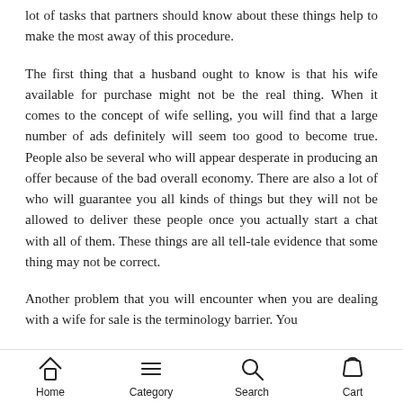lot of tasks that partners should know about these things help to make the most away of this procedure.
The first thing that a husband ought to know is that his wife available for purchase might not be the real thing. When it comes to the concept of wife selling, you will find that a large number of ads definitely will seem too good to become true. People also be several who will appear desperate in producing an offer because of the bad overall economy. There are also a lot of who will guarantee you all kinds of things but they will not be allowed to deliver these people once you actually start a chat with all of them. These things are all tell-tale evidence that some thing may not be correct.
Another problem that you will encounter when you are dealing with a wife for sale is the terminology barrier. You
Home   Category   Search   Cart